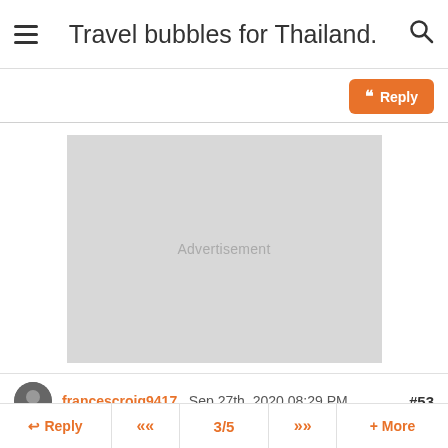Travel bubbles for Thailand.
[Figure (other): Advertisement placeholder block (gray rectangle)]
francescroig9417 , Sep 27th, 2020 08:29 PM  #53
Reply  <<  3/5  >>  + More